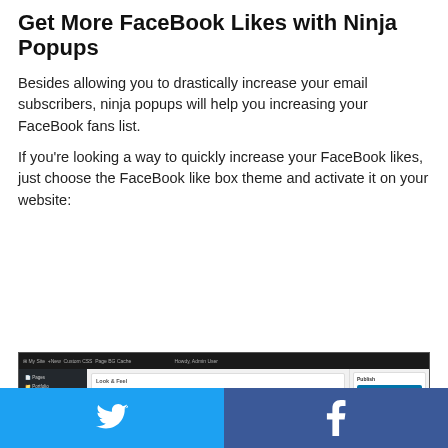Get More FaceBook Likes with Ninja Popups
Besides allowing you to drastically increase your email subscribers, ninja popups will help you increasing your FaceBook fans list.
If you're looking a way to quickly increase your FaceBook likes, just choose the FaceBook like box theme and activate it on your website:
[Figure (screenshot): Screenshot of WordPress admin panel showing Ninja Popups plugin with FaceBook like box theme selected, displaying a preview of a Facebook fan page popup with user avatars, and a Publish/Preview sidebar on the right.]
[Figure (infographic): Social media sharing bar at bottom of page with Twitter (blue) and Facebook (dark blue) share buttons with their respective icons.]